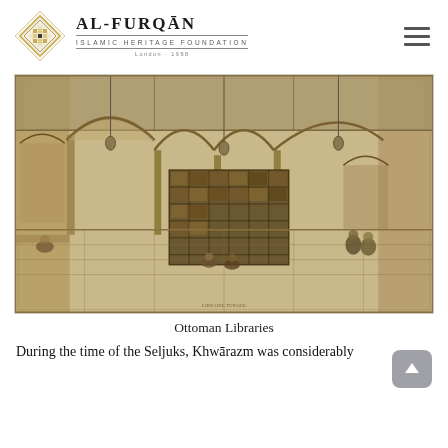AL-FURQĀN ISLAMIC HERITAGE FOUNDATION
[Figure (illustration): Historical engraving of an Ottoman library interior showing arched vaulted ceilings, ornate mashrabiya wooden bookcase screens, stone columns, and several figures seated and standing in the space.]
Ottoman Libraries
During the time of the Seljuks, Khwārazm was considerably